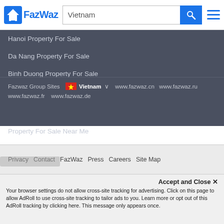FazWaz — Vietnam search header
Hanoi Property For Sale
Da Nang Property For Sale
Binh Duong Property For Sale
Dong Nai Property For Sale
Nearby Real Estate
Property For Sale Near Me
Fazwaz Group Sites  🇻🇳 Vietnam  www.fazwaz.cn  www.fazwaz.ru  www.fazwaz.fr  www.fazwaz.de
Privacy  Contact  FazWaz  Press  Careers  Site Map
Accept and Close ✕
Your browser settings do not allow cross-site tracking for advertising. Click on this page to allow AdRoll to use cross-site tracking to tailor ads to you. Learn more or opt out of this AdRoll tracking by clicking here. This message only appears once.